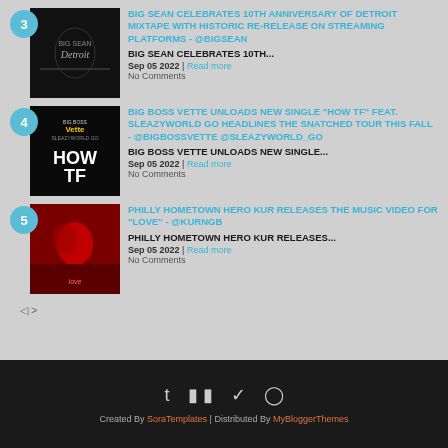BIG SEAN CELEBRATES 10TH ANNIVERSARY OF DETROIT MIXTAPE WITH HISTORIC RE-RELEASE ON STREAMING PLATFORMS - @BIGSEAN | BIG SEAN CELEBRATES 10th... | Sep 05 2022 | Read more | No Comments
BIG BOSS VETTE UNLOADS NEW SINGLE "HOW TF" FEAT. SLEAZYWORLD GO HEADLINES THE SNATCHED TOUR THIS FALL - @BIGBOSSVETTE @SLEAZYWORLD_GO | BIG BOSS VETTE UNLOADS NEW SINGLE... | Sep 05 2022 | Read more | No Comments
PHILLY HOMETOWN HERO KUR RELEASES THE MUSIC VIDEO FOR "LOVE" - @KURNGB | PHILLY HOMETOWN HERO KUR RELEASES... | Sep 05 2022 | Read more | No Comments
Created By SoraTemplates | Distributed By MyBloggerThemes